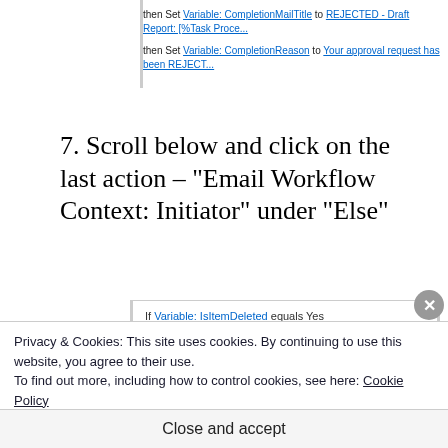[Figure (screenshot): Workflow screenshot showing two lines: 'then Set Variable: CompletionMailTitle to REJECTED - Draft Report: [%Task Proce...' and 'then Set Variable: CompletionReason to Your approval request has been REJECT...' with underlined link text]
7. Scroll below and click on the last action – "Email Workflow Context: Initiator" under "Else"
[Figure (screenshot): Workflow screenshot showing: 'If Variable: IsItemDeleted equals Yes' with indented 'Email Workflow Context:Initiator', then 'Else' section with indented 'Email Workflow Context:Initiator' highlighted with red border]
Privacy & Cookies: This site uses cookies. By continuing to use this website, you agree to their use.
To find out more, including how to control cookies, see here: Cookie Policy
Close and accept